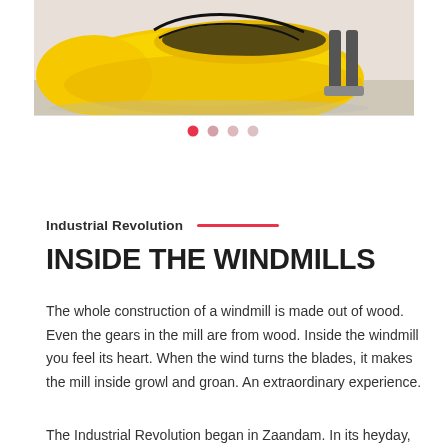[Figure (photo): Photo of a large yellow wooden clog (Dutch shoe) with a person standing behind it, outdoors on sandy ground. Bright yellow color, black outline details visible on top.]
[Figure (other): Carousel navigation dots: one filled red/pink (active), followed by three lighter pink/gray inactive dots]
Industrial Revolution
INSIDE THE WINDMILLS
The whole construction of a windmill is made out of wood. Even the gears in the mill are from wood. Inside the windmill you feel its heart. When the wind turns the blades, it makes the mill inside growl and groan. An extraordinary experience.
The Industrial Revolution began in Zaandam. In its heyday,